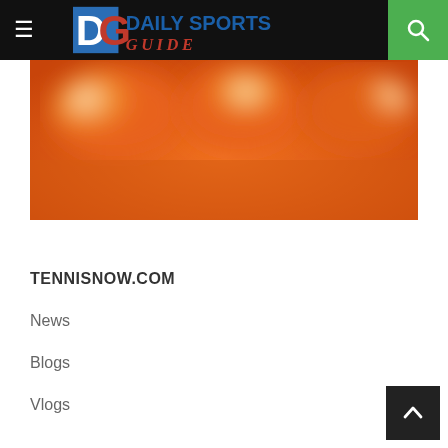Daily Sports Guide — Navigation bar with logo, hamburger menu, and search button
[Figure (photo): Blurred orange image, likely a close-up of a tennis ball or arena lighting, with bright white highlights]
TENNISNOW.COM
News
Blogs
Vlogs